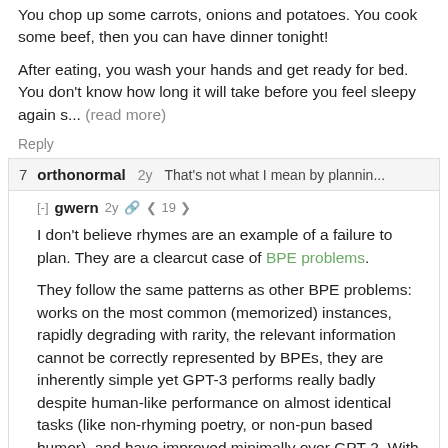You chop up some carrots, onions and potatoes. You cook some beef, then you can have dinner tonight!
After eating, you wash your hands and get ready for bed. You don't know how long it will take before you feel sleepy again s... (read more)
Reply
7  orthonormal  2y  That's not what I mean by plannin...
[-] gwern  2y  < 19 >
I don't believe rhymes are an example of a failure to plan. They are a clearcut case of BPE problems.
They follow the same patterns as other BPE problems: works on the most common (memorized) instances, rapidly degrading with rarity, the relevant information cannot be correctly represented by BPEs, they are inherently simple yet GPT-3 performs really badly despite human-like performance on almost identical tasks (like non-rhyming poetry, or non-pun based humor), and have improved minimally over GPT-2. With rhymes, it's even more clearly not a planning problem because Peter Vessenes, I think, on the Slack set up a demo problem